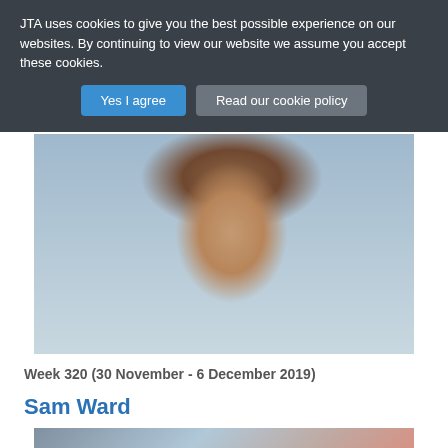JTA uses cookies to give you the best possible experience on our websites. By continuing to view our website we assume you accept these cookies.
Yes I agree
Read our cookie policy
[Figure (photo): Portrait photo of a male cricket player with medium-length brown hair, wearing a white cricket shirt, with a blurred crowd in the background.]
Week 320 (30 November - 6 December 2019)
Sam Ward
[Figure (photo): Partial photo of another cricket player, partially visible at the bottom of the page.]